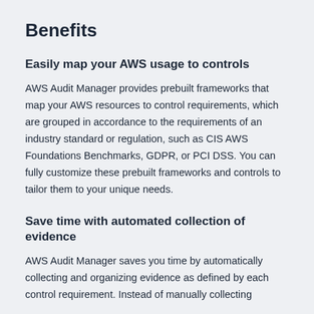Benefits
Easily map your AWS usage to controls
AWS Audit Manager provides prebuilt frameworks that map your AWS resources to control requirements, which are grouped in accordance to the requirements of an industry standard or regulation, such as CIS AWS Foundations Benchmarks, GDPR, or PCI DSS. You can fully customize these prebuilt frameworks and controls to tailor them to your unique needs.
Save time with automated collection of evidence
AWS Audit Manager saves you time by automatically collecting and organizing evidence as defined by each control requirement. Instead of manually collecting